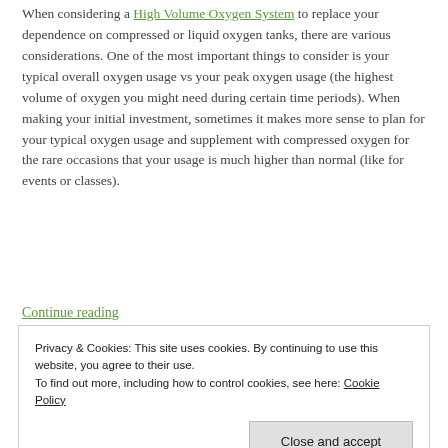When considering a High Volume Oxygen System to replace your dependence on compressed or liquid oxygen tanks, there are various considerations. One of the most important things to consider is your typical overall oxygen usage vs your peak oxygen usage (the highest volume of oxygen you might need during certain time periods). When making your initial investment, sometimes it makes more sense to plan for your typical oxygen usage and supplement with compressed oxygen for the rare occasions that your usage is much higher than normal (like for events or classes).
Continue reading
Privacy & Cookies: This site uses cookies. By continuing to use this website, you agree to their use. To find out more, including how to control cookies, see here: Cookie Policy